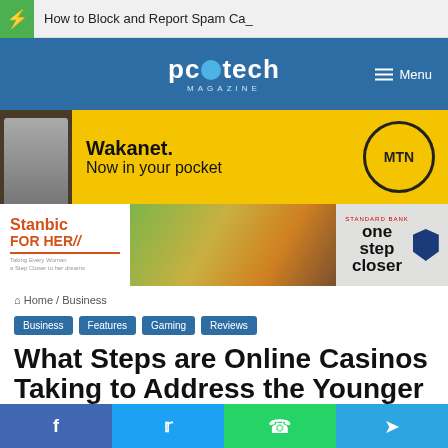How to Block and Report Spam Ca_
[Figure (logo): PC Tech Magazine logo with globe icon on blue navigation bar with Menu button]
[Figure (infographic): Wakanet. Now in your pocket - MTN advertisement banner with yellow background]
[Figure (infographic): Stanbic For Her - one step closer advertisement banner]
Home / Business
Business
Features
Gaming
Reviews
What Steps are Online Casinos Taking to Address the Younger Generation of
f  t  WhatsApp  Telegram